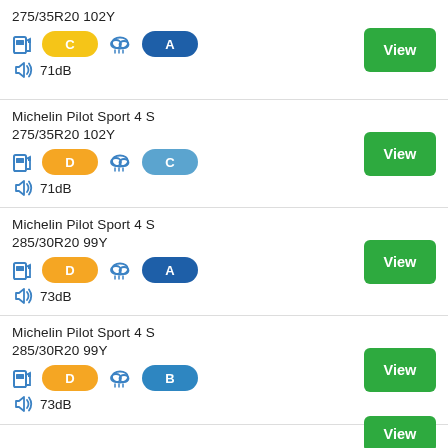275/35R20 102Y | Fuel: C | Wet: A | Noise: 71dB
Michelin Pilot Sport 4 S 275/35R20 102Y | Fuel: D | Wet: C | Noise: 71dB
Michelin Pilot Sport 4 S 285/30R20 99Y | Fuel: D | Wet: A | Noise: 73dB
Michelin Pilot Sport 4 S 285/30R20 99Y | Fuel: D | Wet: B | Noise: 73dB